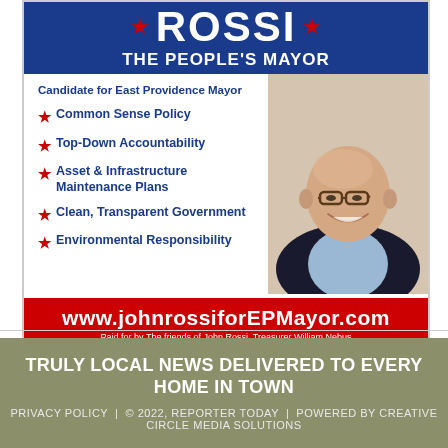[Figure (infographic): Political campaign advertisement for John Rossi, 'The People's Mayor', candidate for East Providence Mayor. Blue background with candidate name, red stars, bullet points for platform, photo of man, red footer with website URL.]
Common Sense Policy
Top-Down Accountability
Asset & Infrastructure Maintenance Plans
Clean, Transparent Government
Environmental Responsibility
www.johnrossiforEPMayor.com
Paid for by The friends of John Rossi, Treasurer William Nebus
TRULY LOCAL NEWS DELIVERED TO EVERY HOME IN TOWN
PRIVACY POLICY | © 2022, REPORTER TODAY | POWERED BY CREATIVE CIRCLE MEDIA SOLUTIONS